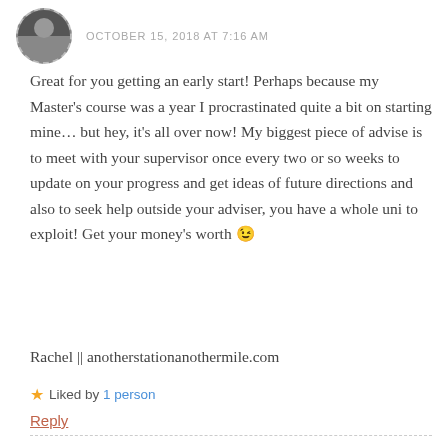OCTOBER 15, 2018 AT 7:16 AM
Great for you getting an early start! Perhaps because my Master's course was a year I procrastinated quite a bit on starting mine… but hey, it's all over now! My biggest piece of advise is to meet with your supervisor once every two or so weeks to update on your progress and get ideas of future directions and also to seek help outside your adviser, you have a whole uni to exploit! Get your money's worth 😉
Rachel || anotherstationanothermile.com
★ Liked by 1person
Reply